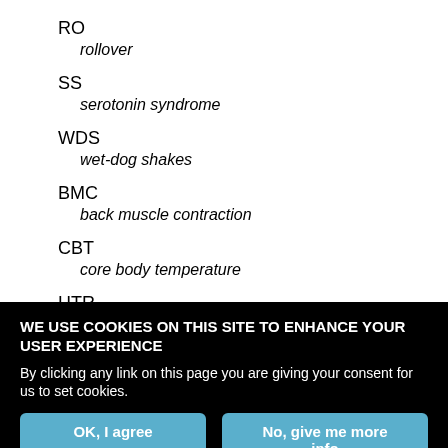RO
    rollover
SS
    serotonin syndrome
WDS
    wet-dog shakes
BMC
    back muscle contraction
CBT
    core body temperature
HTR
WE USE COOKIES ON THIS SITE TO ENHANCE YOUR USER EXPERIENCE
By clicking any link on this page you are giving your consent for us to set cookies.